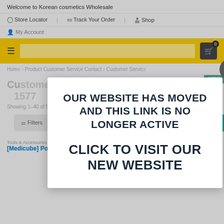Welcome to Korean cosmetics Wholesale
Store Locator | Track Your Order | Shop
My Account
Home > Product Customer Service Contact > Customer Service
Customer Service Center: +8
1577
Showing 1-40 of 50 res...
Filters   Sort by latest
Tools & Accessories
[Medicube] Pore Brush
Tools & Accessories
[Medicube] No-Trouble Puff
[Figure (screenshot): Modal popup dialog on a Korean cosmetics wholesale website. The modal contains bold dark text reading 'OUR WEBSITE HAS MOVED AND THIS LINK IS NO LONGER ACTIVE' and 'CLICK TO VISIT OUR NEW WEBSITE'. A close button (X) appears in the top right of the modal. The background shows a website interface with navigation bar, yellow header bar, breadcrumbs, and product listings.]